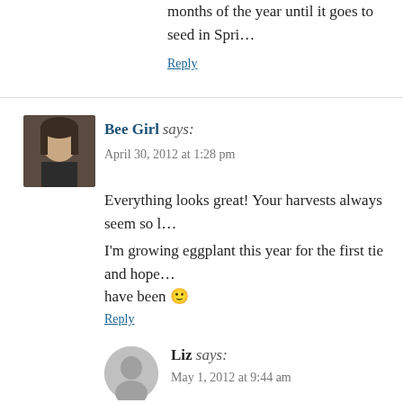months of the year until it goes to seed in Spri...
Reply
Bee Girl says:
April 30, 2012 at 1:28 pm
Everything looks great! Your harvests always seem so l...
I'm growing eggplant this year for the first tie and hope... have been 🙂
Reply
[Figure (photo): Avatar photo of Bee Girl commenter]
Liz says:
May 1, 2012 at 9:44 am
[Figure (photo): Generic gray avatar silhouette for Liz]
I've been really pleased with both my Bonica... planted one called Early Long Purple which w... actually I would have called it mauve rather th...